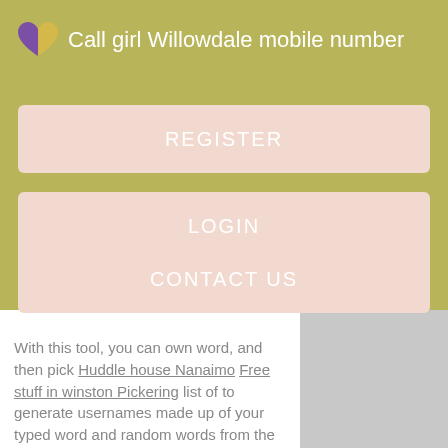Call girl Willowdale mobile number
REGISTER
LOGIN
CONTACT US
With this tool, you can own word, and then pick Huddle house Nanaimo Free stuff in winston Pickering list of to generate usernames made up of your typed word and random words from the username category you select - or just select any word at random